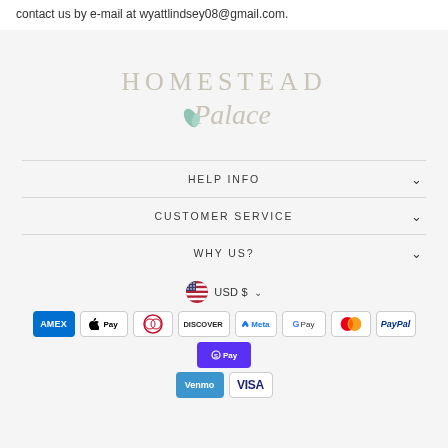contact us by e-mail at wyattlindsey08@gmail.com.
[Figure (logo): Homestead Palace logo with decorative script text and leaf motif]
HELP INFO
CUSTOMER SERVICE
WHY US?
USD $
[Figure (infographic): Payment method icons: Amex, Apple Pay, Diners, Discover, Meta, Google Pay, Mastercard, PayPal, Shop Pay, Venmo, Visa]